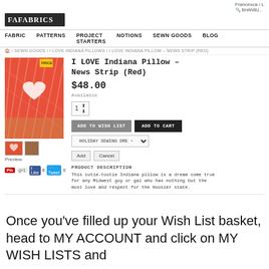Francesca / L  [search]
[Figure (logo): Store logo with stylized text]
FABRIC  PATTERNS  PROJECT STARTERS  NOTIONS  SEWN GOODS  BLOG
HOME / SEWN GOODS / I LOVE INDIANA PILLOWS / I LOVE INDIANA PILLOW – NEWS STRIP (RED)
[Figure (photo): Red Indiana pillow with white pattern shown on chair]
I LOVE Indiana Pillow – News Strip (Red)
$48.00
Available
Quantity: 1
ADD TO WISH LIST   ADD TO CART
HOLIDAY SEWING DRE ÷
Add   Cancel
PRODUCT DESCRIPTION
This cutie-tootie Indiana pillow is a dream come true for any Midwest guy or gal who has nothing but the most love and respect for the Hoosier state.
Once you've filled up your Wish List basket, head to MY ACCOUNT and click on MY WISH LISTS and